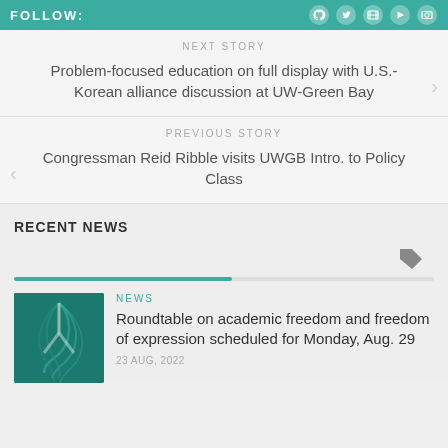FOLLOW:
NEXT STORY
Problem-focused education on full display with U.S.-Korean alliance discussion at UW-Green Bay
PREVIOUS STORY
Congressman Reid Ribble visits UWGB Intro. to Policy Class
RECENT NEWS
[Figure (other): Tag/label icon]
NEWS
Roundtable on academic freedom and freedom of expression scheduled for Monday, Aug. 29
23 AUG, 2022